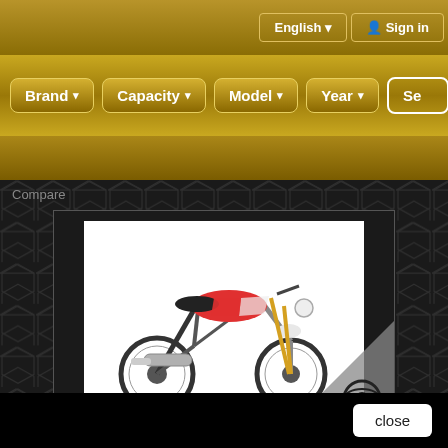English  Sign in
Brand  Capacity  Model  Year  Se
Compare
[Figure (photo): Motorcycle product photo: Honda CRF250L dual-sport bike with red/white/black livery and aftermarket exhaust, shown in white background inset. Leovince logo watermark in grey triangle at bottom-right corner of product card.]
8773E - EXHAUST SLIP-ON LEOVINCE LV ONE EVO STAINLESS STEEL
close